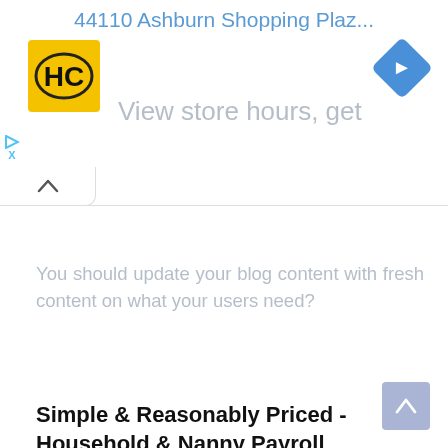[Figure (screenshot): Top advertisement banner with HC logo (yellow square with black HC letters), blue diamond navigation icon, blue link text '44110 Ashburn Shopping Plaz...' and gray subtext 'View store hours, get']
You should update your blog content with fresh content on what your users need?
Simple & Reasonably Priced - Household & Nanny Payroll
Ad poppinspayroll.com